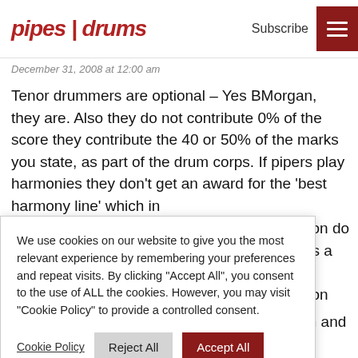pipes | drums
December 31, 2008 at 12:00 am
Tenor drummers are optional – Yes BMorgan, they are. Also they do not contribute 0% of the score they contribute the 40 or 50% of the marks you state, as part of the drum corps. If pipers play harmonies they don't get an award for the 'best harmony line' which in [overlay partially obscures text] ...tion do as a c ction , not as my original of the parts, a mmers being rummers are ey do they are id all, which I ading. Put the dummy back in, get the toys back in the pram and let's
We use cookies on our website to give you the most relevant experience by remembering your preferences and repeat visits. By clicking "Accept All", you consent to the use of ALL the cookies. However, you may visit "Cookie Policy" to provide a controlled consent.
Cookie Policy   Reject All   Accept All